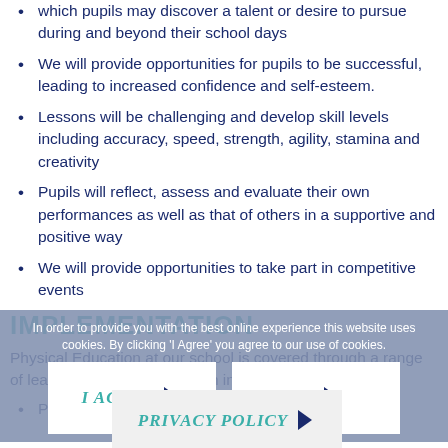which pupils may discover a talent or desire to pursue during and beyond their school days
We will provide opportunities for pupils to be successful, leading to increased confidence and self-esteem.
Lessons will be challenging and develop skill levels including accuracy, speed, strength, agility, stamina and creativity
Pupils will reflect, assess and evaluate their own performances as well as that of others in a supportive and positive way
We will provide opportunities to take part in competitive events
Implementation
Physical Education at our school is covered through a range of learning experiences, which include:
PE and sport within the curriculum